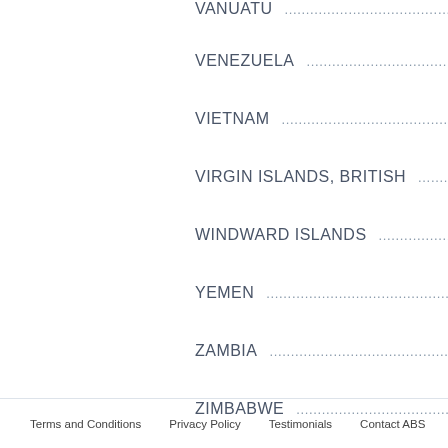VANUATU
VENEZUELA
VIETNAM
VIRGIN ISLANDS, BRITISH
WINDWARD ISLANDS
YEMEN
ZAMBIA
ZIMBABWE
Terms and Conditions   Privacy Policy   Testimonials   Contact ABS